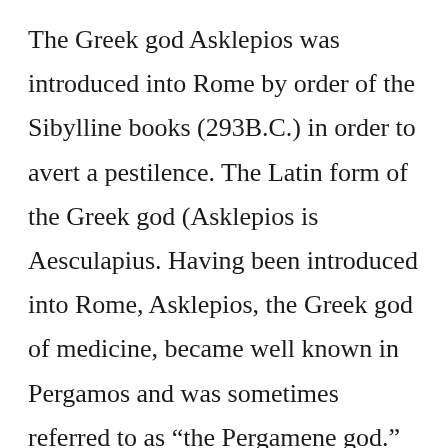The Greek god Asklepios was introduced into Rome by order of the Sibylline books (293B.C.) in order to avert a pestilence. The Latin form of the Greek god (Asklepios is Aesculapius. Having been introduced into Rome, Asklepios, the Greek god of medicine, became well known in Pergamos and was sometimes referred to as “the Pergamene god.” Pergamos has been described as the “Lourdes of the ancient world.”
The precincts of Asklepios’ temple in